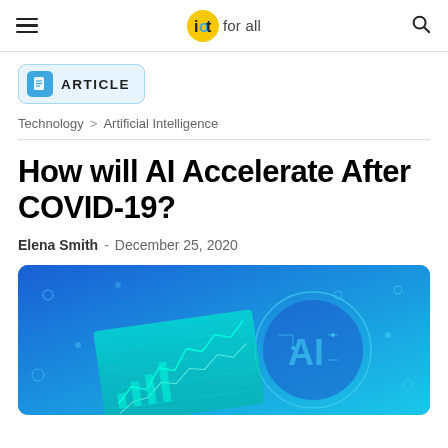IoT for all
ARTICLE
Technology > Artificial Intelligence
How will AI Accelerate After COVID-19?
Elena Smith - December 25, 2020
[Figure (illustration): Blue background illustration showing an AI circuit brain coin and a green teal financial chart screen, representing AI and technology themes]